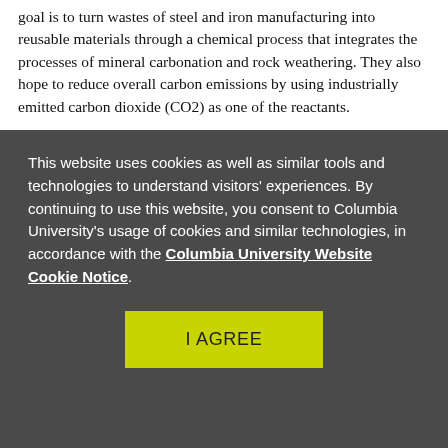goal is to turn wastes of steel and iron manufacturing into reusable materials through a chemical process that integrates the processes of mineral carbonation and rock weathering. They also hope to reduce overall carbon emissions by using industrially emitted carbon dioxide (CO2) as one of the reactants.
"We are working with Baotou Steel on an exciting project that uses our
This website uses cookies as well as similar tools and technologies to understand visitors' experiences. By continuing to use this website, you consent to Columbia University's usage of cookies and similar technologies, in accordance with the Columbia University Website Cookie Notice.
I AGREE